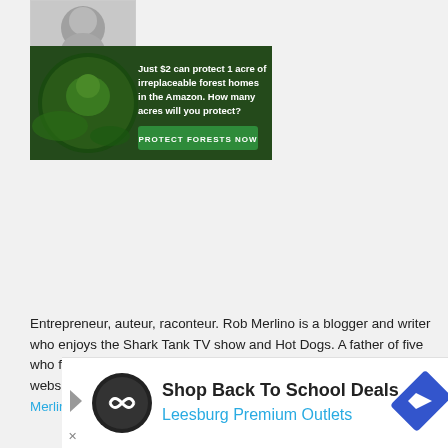[Figure (photo): Profile photo of Rob Merlino, partially visible at top]
[Figure (infographic): Amazon forest conservation ad banner: 'Just $2 can protect 1 acre of irreplaceable forest homes in the Amazon. How many acres will you protect?' with 'PROTECT FORESTS NOW' button, featuring animal imagery and forest background]
Entrepreneur, auteur, raconteur. Rob Merlino is a blogger and writer who enjoys the Shark Tank TV show and Hot Dogs. A father of five who freelances in a variety of publications, Rob has a stable of websites including Shark Tank Blog, Hot Dog Stories, Rob Merlino.com and more.
[Figure (infographic): Bottom advertisement: 'Shop Back To School Deals' Leesburg Premium Outlets with arrow logo and triangular play icon]